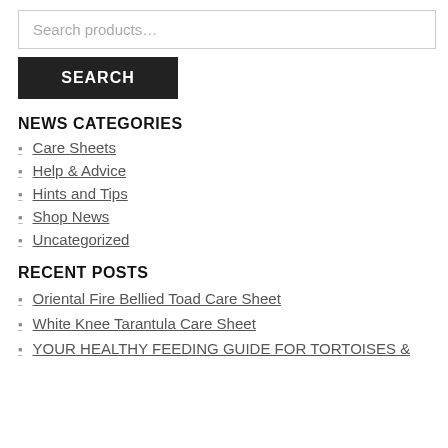Search products…
SEARCH
NEWS CATEGORIES
Care Sheets
Help & Advice
Hints and Tips
Shop News
Uncategorized
RECENT POSTS
Oriental Fire Bellied Toad Care Sheet
White Knee Tarantula Care Sheet
YOUR HEALTHY FEEDING GUIDE FOR TORTOISES &